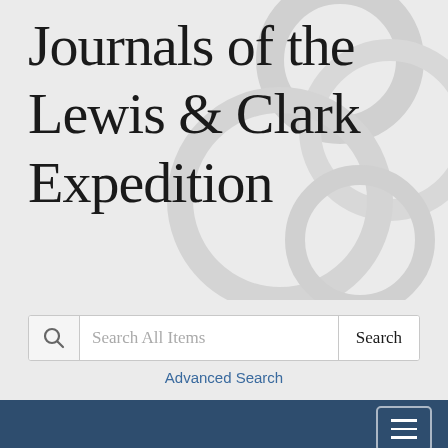Journals of the Lewis & Clark Expedition
[Figure (screenshot): Search bar with magnifying glass icon, placeholder text 'Search All Items', and a Search button]
Advanced Search
[Figure (screenshot): Navy navigation bar with hamburger menu button in top right]
February 13, 1805
[Figure (other): Date range slider showing position between Aug 30, 1803 and Sep 30, 1806]
Aug 30, 1803
Sep 30, 1806
Previous
Next